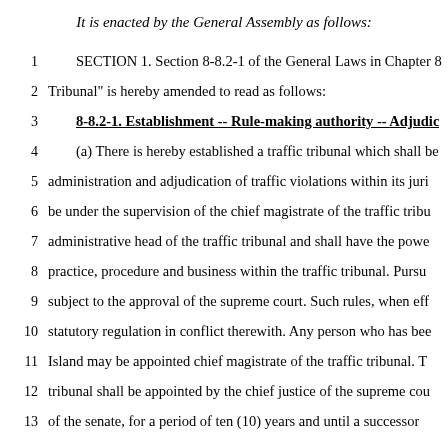It is enacted by the General Assembly as follows:
1    SECTION 1. Section 8-8.2-1 of the General Laws in Chapter 8
2    Tribunal" is hereby amended to read as follows:
3    8-8.2-1. Establishment -- Rule-making authority -- Adjudic
4    (a) There is hereby established a traffic tribunal which shall be
5    administration and adjudication of traffic violations within its juri
6    be under the supervision of the chief magistrate of the traffic tribu
7    administrative head of the traffic tribunal and shall have the powe
8    practice, procedure and business within the traffic tribunal. Pursu
9    subject to the approval of the supreme court. Such rules, when eff
10   statutory regulation in conflict therewith. Any person who has bee
11   Island may be appointed chief magistrate of the traffic tribunal. T
12   tribunal shall be appointed by the chief justice of the supreme cou
13   of the senate, for a period of ten (10) years and until a successor